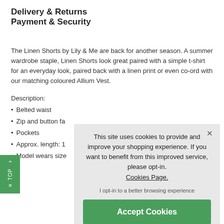Delivery & Returns
Payment & Security
The Linen Shorts by Lily & Me are back for another season. A summer wardrobe staple, Linen Shorts look great paired with a simple t-shirt for an everyday look, paired back with a linen print or even co-ord with our matching coloured Allium Vest.
Description:
Belted waist
Zip and button fa
Pockets
Approx. length: 1
Model wears size
[Figure (screenshot): Cookie consent overlay with text: This site uses cookies to provide and improve your shopping experience. If you want to benefit from this improved service, please opt-in. Cookies Page. I opt-in to a better browsing experience. Accept Cookies button.]